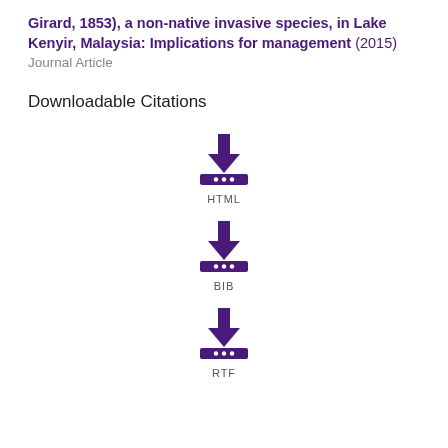Girard, 1853), a non-native invasive species, in Lake Kenyir, Malaysia: Implications for management (2015)
Journal Article
Downloadable Citations
[Figure (other): Download icon for HTML citation format]
[Figure (other): Download icon for BIB citation format]
[Figure (other): Download icon for RTF citation format]